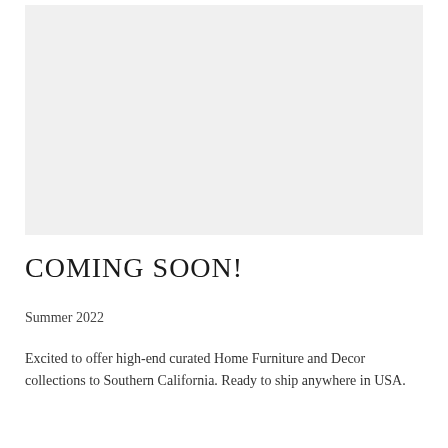[Figure (other): Large light gray placeholder image area occupying the top portion of the page]
COMING SOON!
Summer 2022
Excited to offer high-end curated Home Furniture and Decor collections to Southern California. Ready to ship anywhere in USA.